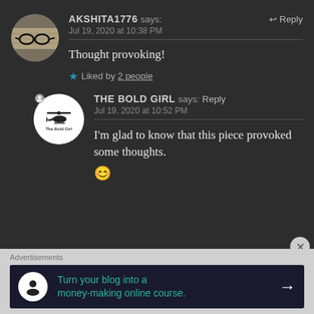[Figure (photo): Avatar of user AKSHITA1776 — circular photo showing glasses on a newspaper]
AKSHITA1776 says:
Jul 19, 2020 at 10:38 PM
Reply
Thought provoking!
★ Liked by 2 people
[Figure (logo): The Bold Girl blog logo — circular white badge with helicopter icon and text 'The Bold Girl']
THE BOLD GIRL says: Reply
Jul 19, 2020 at 10:52 PM
I'm glad to know that this piece provoked some thoughts. 😊
Advertisements
Turn your blog into a money-making online course.